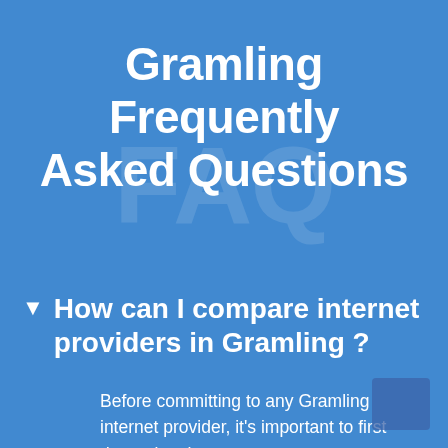Gramling Frequently Asked Questions
How can I compare internet providers in Gramling ?
Before committing to any Gramling internet provider, it's important to first determine that